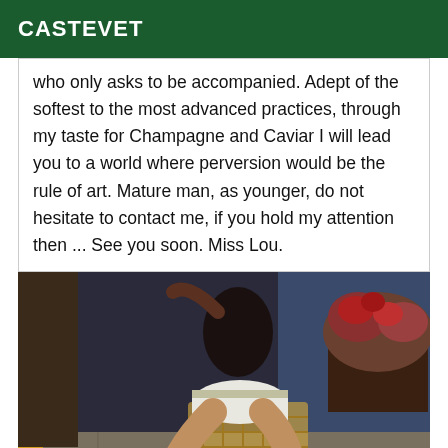CASTEVET
who only asks to be accompanied. Adept of the softest to the most advanced practices, through my taste for Champagne and Caviar I will lead you to a world where perversion would be the rule of art. Mature man, as younger, do not hesitate to contact me, if you hold my attention then ... See you soon. Miss Lou.
[Figure (photo): A person sitting on a wicker chair outdoors at night, wearing white shorts and high heels, with legs crossed, a potted plant and blue-lit background visible.]